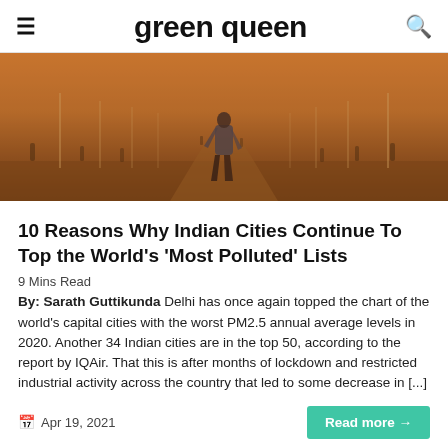green queen
[Figure (photo): A person walking alone on a wide road in heavy smog/dust haze, with silhouettes of other people and lamp posts in the orange-brown hazy background, depicting severe air pollution in an Indian city.]
10 Reasons Why Indian Cities Continue To Top the World's 'Most Polluted' Lists
9 Mins Read
By: Sarath Guttikunda Delhi has once again topped the chart of the world's capital cities with the worst PM2.5 annual average levels in 2020. Another 34 Indian cities are in the top 50, according to the report by IQAir. That this is after months of lockdown and restricted industrial activity across the country that led to some decrease in [...]
Apr 19, 2021
Read more →